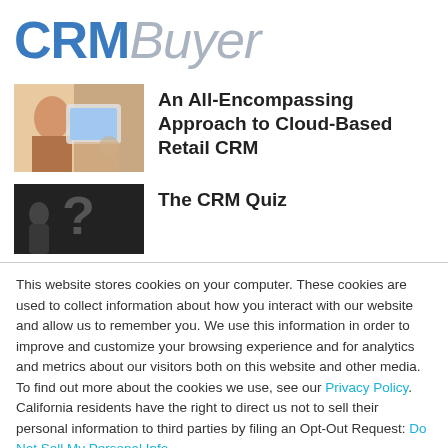[Figure (logo): CRMBuyer logo — CRM in bold blue, Buyer in light grey italic]
An All-Encompassing Approach to Cloud-Based Retail CRM
The CRM Quiz
This website stores cookies on your computer. These cookies are used to collect information about how you interact with our website and allow us to remember you. We use this information in order to improve and customize your browsing experience and for analytics and metrics about our visitors both on this website and other media. To find out more about the cookies we use, see our Privacy Policy. California residents have the right to direct us not to sell their personal information to third parties by filing an Opt-Out Request: Do Not Sell My Personal Info.